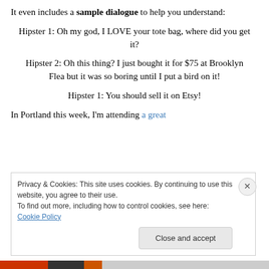It even includes a sample dialogue to help you understand:
Hipster 1: Oh my god, I LOVE your tote bag, where did you get it?
Hipster 2: Oh this thing? I just bought it for $75 at Brooklyn Flea but it was so boring until I put a bird on it!
Hipster 1: You should sell it on Etsy!
In Portland this week, I'm attending a great
Privacy & Cookies: This site uses cookies. By continuing to use this website, you agree to their use. To find out more, including how to control cookies, see here: Cookie Policy